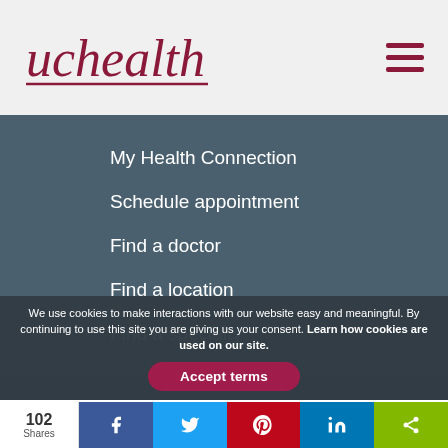[Figure (logo): UCHealth logo in dark red/maroon serif font with underline]
My Health Connection
Schedule appointment
Find a doctor
Find a location
Find a specialty
We use cookies to make interactions with our website easy and meaningful. By continuing to use this site you are giving us your consent. Learn how cookies are used on our site.
Accept terms
102 Shares